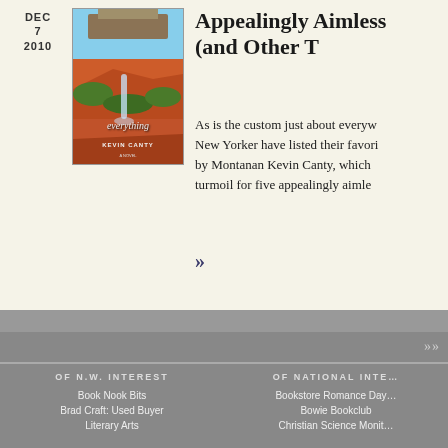DEC
7
2010
[Figure (illustration): Book cover of 'Everything' by Kevin Canty, showing a landscape with canyon, red rocks, greenery, and a waterfall]
Appealingly Aimless (and Other T…
As is the custom just about everyw… New Yorker have listed their favori… by Montanan Kevin Canty, which… turmoil for five appealingly aimle…
»
OF N.W. INTEREST
OF NATIONAL INTE…
Book Nook Bits
Brad Craft: Used Buyer
Literary Arts
Bookstore Romance Day…
Bowie Bookclub
Christian Science Monit…